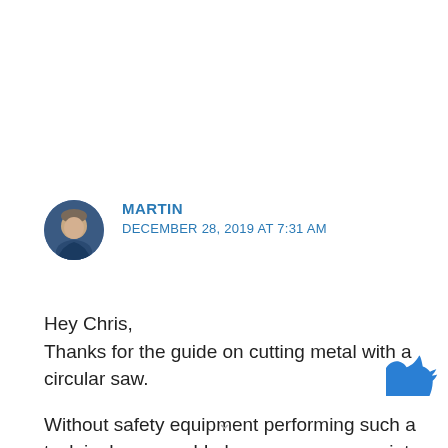[Figure (photo): Circular avatar photo of a man wearing a dark jacket, against a slightly blurred background]
MARTIN
DECEMBER 28, 2019 AT 7:31 AM
Hey Chris,
Thanks for the guide on cutting metal with a circular saw.

Without safety equipment performing such a task is dangerous! I always wear appropriate clothing
[Figure (logo): Twitter bird logo icon in blue, partially visible at bottom right corner]